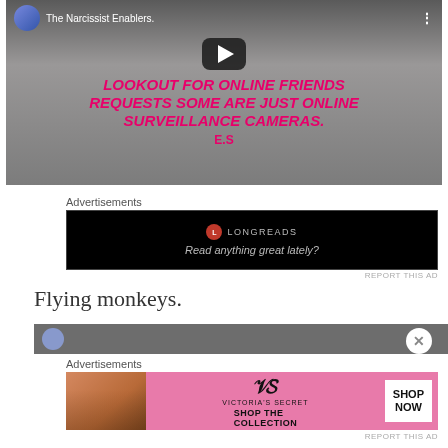[Figure (screenshot): YouTube video thumbnail showing text 'LOOKOUT FOR ONLINE FRIENDS REQUESTS SOME ARE JUST ONLINE SURVEILLANCE CAMERAS. E.S' with play button overlay, title 'The Narcissist Enablers.']
Advertisements
[Figure (screenshot): Longreads advertisement on black background with logo circle and text 'Read anything great lately?']
REPORT THIS AD
Flying monkeys.
[Figure (screenshot): Partial video thumbnail header]
Advertisements
[Figure (screenshot): Victoria's Secret advertisement with model photo, VS logo, 'SHOP THE COLLECTION' text and 'SHOP NOW' button]
REPORT THIS AD